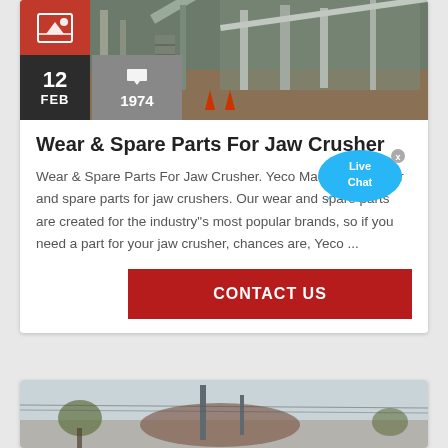[Figure (photo): Industrial jaw crusher machinery at a quarry/mining site, with conveyor belts and steel framework visible. Top-left shows a red icon box and below it date box '12 FEB' and comment box '1974'.]
Wear & Spare Parts For Jaw Crusher
Wear & Spare Parts For Jaw Crusher. Yeco Machinery's wear and spare parts for jaw crushers. Our wear and spare parts are created for the industry"s most popular brands, so if you need a part for your jaw crusher, chances are, Yeco ...
[Figure (other): Live Chat speech bubble widget overlaid on the page content]
CONTACT US
[Figure (photo): Bottom card showing partial image of industrial machinery/crusher equipment against sky]